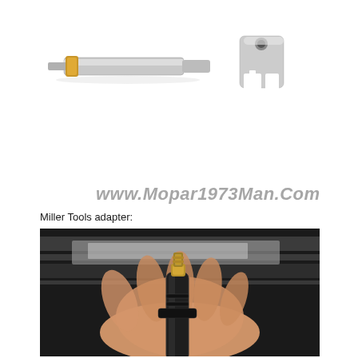[Figure (photo): Two silver metallic automotive tool components: a cylindrical adapter with a gold/brass ring at one end, and a fork-shaped bracket/clamp piece, both shown on white background.]
[Figure (illustration): Watermark text reading www.Mopar1973Man.Com in italic styled font with a gray/metallic appearance.]
Miller Tools adapter:
[Figure (photo): A hand holding a black cylindrical fuel injector tool with a gold/brass angled fitting attached at the top, photographed against a dark background with metallic surfaces.]